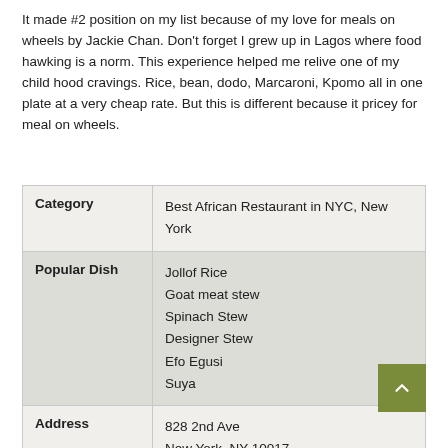It made #2 position on my list because of my love for meals on wheels by Jackie Chan. Don't forget I grew up in Lagos where food hawking is a norm. This experience helped me relive one of my child hood cravings. Rice, bean, dodo, Marcaroni, Kpomo all in one plate at a very cheap rate. But this is different because it pricey for meal on wheels.
| Category | Best African Restaurant in NYC, New York |
| Popular Dish | Jollof Rice
Goat meat stew
Spinach Stew
Designer Stew
Efo Egusi
Suya |
| Address | 828 2nd Ave
New York, NY 10017
b/t 44th St & 45th St
Midtown East |
| Opening Hours | Mon-Friday 11am-5pm |